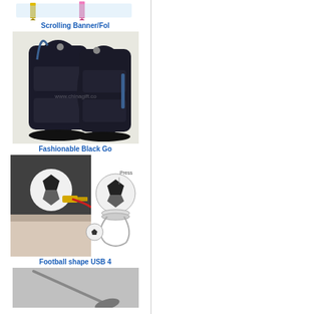[Figure (photo): Scrolling banner/foil pens in yellow and pink colors]
Scrolling Banner/Fol
[Figure (photo): Fashionable black golf bag set, two bags shown]
Fashionable Black Go
[Figure (photo): Football shape USB flash drive, showing actual product photo and diagram with Press label]
Football shape USB 4
[Figure (photo): Golf club shaped item, gray metallic surface]